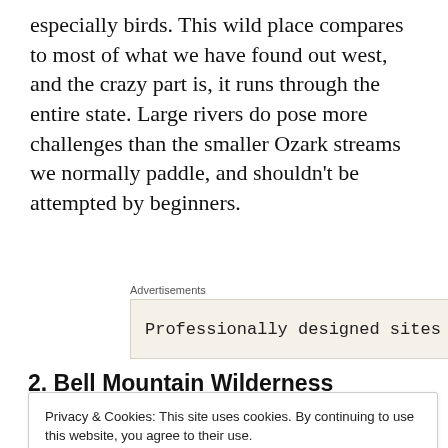especially birds. This wild place compares to most of what we have found out west, and the crazy part is, it runs through the entire state. Large rivers do pose more challenges than the smaller Ozark streams we normally paddle, and shouldn't be attempted by beginners.
[Figure (other): Advertisement box with beige background showing 'Professionally designed sites' with a circular icon on the right]
2. Bell Mountain Wilderness
Privacy & Cookies: This site uses cookies. By continuing to use this website, you agree to their use.
To find out more, including how to control cookies, see here: Cookie Policy

Close and accept